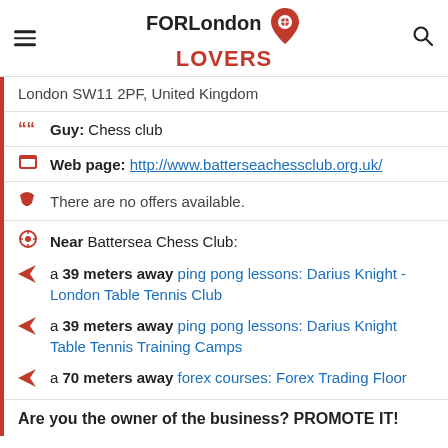FOR London LOVERS
London SW11 2PF, United Kingdom
Guy: Chess club
Web page: http://www.batterseachessclub.org.uk/
There are no offers available.
Near Battersea Chess Club:
a 39 meters away ping pong lessons: Darius Knight - London Table Tennis Club
a 39 meters away ping pong lessons: Darius Knight Table Tennis Training Camps
a 70 meters away forex courses: Forex Trading Floor
Are you the owner of the business? PROMOTE IT!